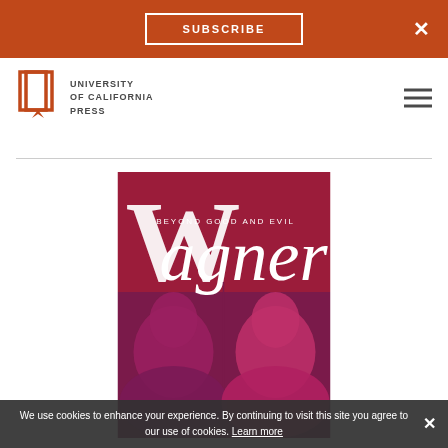SUBSCRIBE  ×
[Figure (logo): University of California Press logo with book icon and text: UNIVERSITY of CALIFORNIA PRESS]
[Figure (photo): Book cover for 'Wagner: Beyond Good and Evil' — dark red/magenta cover with large serif 'W' and 'agner' text, 'BEYOND GOOD AND EVIL' subtitle, and two mirrored profile portraits of Wagner in purple/magenta duotone]
We use cookies to enhance your experience. By continuing to visit this site you agree to our use of cookies. Learn more